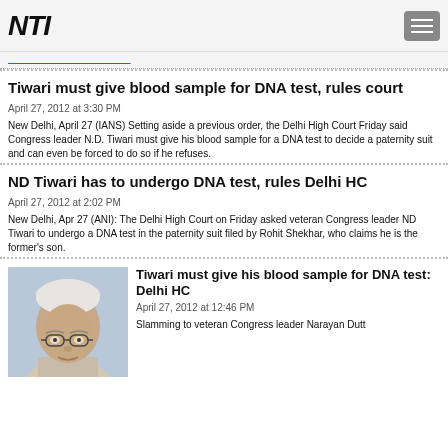NTI logo and navigation
(partial link bar)
Tiwari must give blood sample for DNA test, rules court
April 27, 2012 at 3:30 PM
New Delhi, April 27 (IANS) Setting aside a previous order, the Delhi High Court Friday said Congress leader N.D. Tiwari must give his blood sample for a DNA test to decide a paternity suit and can even be forced to do so if he refuses.
ND Tiwari has to undergo DNA test, rules Delhi HC
April 27, 2012 at 2:02 PM
New Delhi, Apr 27 (ANI): The Delhi High Court on Friday asked veteran Congress leader ND Tiwari to undergo a DNA test in the paternity suit filed by Rohit Shekhar, who claims he is the former's son.
[Figure (photo): Photo of an elderly man with white hair and glasses]
Tiwari must give his blood sample for DNA test: Delhi HC
April 27, 2012 at 12:46 PM
Slamming to veteran Congress leader Narayan Dutt